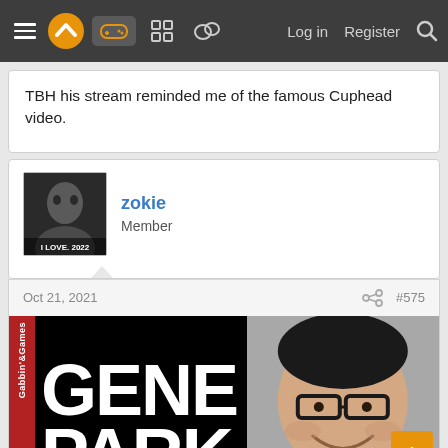Navigation bar with menu, logo, icons, Log in, Register, Search
TBH his stream reminded me of the famous Cuphead video.
zokie
Member
Oct 21, 2021  #575
[Figure (photo): Magazine-style image with red sidebar reading Gabbin'&Games, large bold white text GENE PARK on black background, and a photo of an Asian man with glasses smiling]